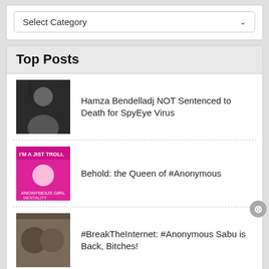[Figure (screenshot): Select Category dropdown widget]
Top Posts
Hamza Bendelladj NOT Sentenced to Death for SpyEye Virus
Behold: the Queen of #Anonymous
#BreakTheInternet: #Anonymous Sabu is Back, Bitches!
The IT Army of Ukraine Attacks Russian Money Transfer Sites
$670 Billion Served: An Interview with
Advertisements
[Figure (screenshot): WooCommerce advertisement banner: How to start selling subscriptions online]